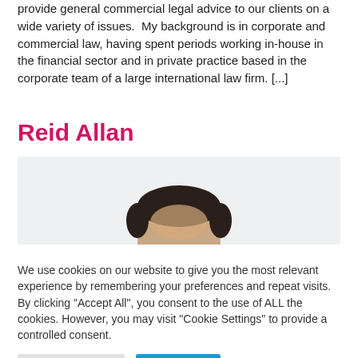provide general commercial legal advice to our clients on a wide variety of issues.  My background is in corporate and commercial law, having spent periods working in-house in the financial sector and in private practice based in the corporate team of a large international law firm. [...]
Reid Allan
[Figure (photo): Partial headshot photo of Reid Allan showing the top of a man's head with dark hair against a light gray background]
We use cookies on our website to give you the most relevant experience by remembering your preferences and repeat visits. By clicking "Accept All", you consent to the use of ALL the cookies. However, you may visit "Cookie Settings" to provide a controlled consent.
Cookie Settings
Accept All